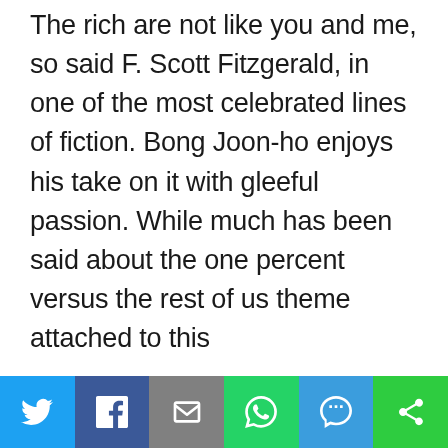The rich are not like you and me, so said F. Scott Fitzgerald, in one of the most celebrated lines of fiction. Bong Joon-ho enjoys his take on it with gleeful passion. While much has been said about the one percent versus the rest of us theme attached to this
[Figure (other): Social media share bar with icons for Twitter, Facebook, Email, WhatsApp, SMS, and More]